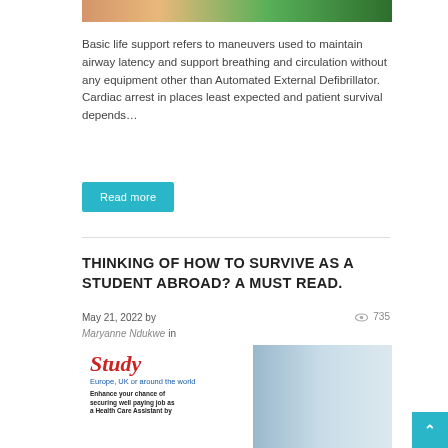[Figure (photo): Top partial image showing people and a green background, cropped at the top of the page]
Basic life support refers to maneuvers used to maintain airway latency and support breathing and circulation without any equipment other than Automated External Defibrillator. Cardiac arrest in places least expected and patient survival depends…
Read more
THINKING OF HOW TO SURVIVE AS A STUDENT ABROAD? A MUST READ.
May 21, 2022 by Maryanne Ndukwe in
735
[Figure (photo): Study abroad advertisement image showing text 'Study Europe, UK or around the world — Enhance your chance of securing well paying job as a Health Care Assistant by...' with a person in background]